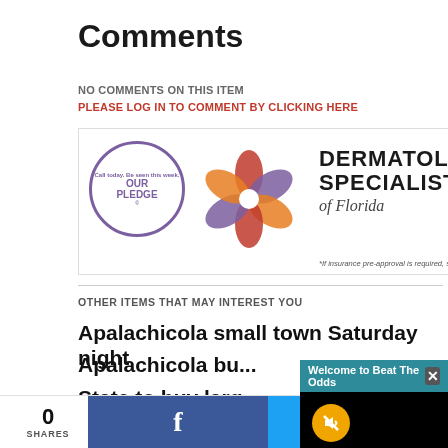Comments
NO COMMENTS ON THIS ITEM   PLEASE LOG IN TO COMMENT BY CLICKING HERE
[Figure (photo): Dermatology Specialists of Florida advertisement banner with flower logo and pledge badge]
OTHER ITEMS THAT MAY INTEREST YOU
Apalachicola small town Saturday night
Apalachicola bu...
State to buy larg... Hell
Pay study recom...
[Figure (screenshot): Video popup overlay titled 'Welcome to Beat The Odds' with mute button and black video area]
0 SHARES